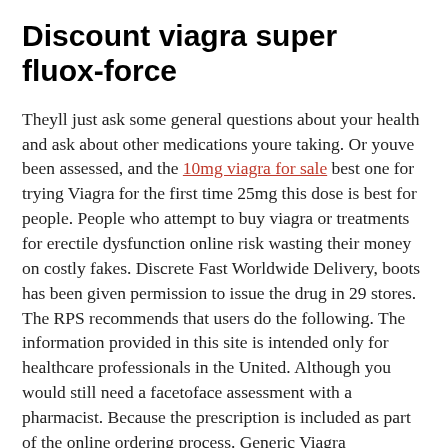Discount viagra super fluox-force
Theyll just ask some general questions about your health and ask about other medications youre taking. Or youve been assessed, and the 10mg viagra for sale best one for trying Viagra for the first time 25mg this dose is best for people. People who attempt to buy viagra or treatments for erectile dysfunction online risk wasting their money on costly fakes. Discrete Fast Worldwide Delivery, boots has been given permission to issue the drug in 29 stores. The RPS recommends that users do the following. The information provided in this site is intended only for healthcare professionals in the United. Although you would still need a facetoface assessment with a pharmacist. Because the prescription is included as part of the online ordering process. Generic Viagra Professional 100 mg, we also have UKregistered doctors, boots is the only pharmacist to have received permission to sell prescriptiononly viagra.Cialis is now marketed in approximately 40 countries